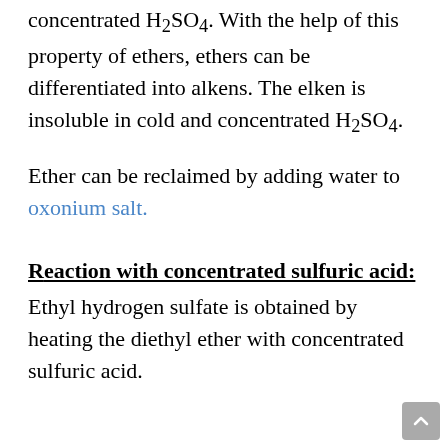concentrated H₂SO₄. With the help of this property of ethers, ethers can be differentiated into alkens. The elken is insoluble in cold and concentrated H₂SO₄.
Ether can be reclaimed by adding water to oxonium salt.
Reaction with concentrated sulfuric acid:
Ethyl hydrogen sulfate is obtained by heating the diethyl ether with concentrated sulfuric acid.